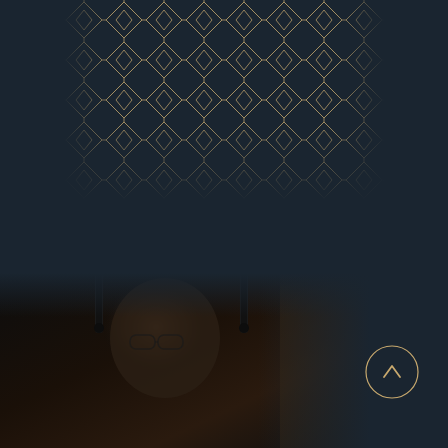[Figure (illustration): Geometric Art Deco diamond lattice pattern in gold/tan lines on dark navy background. A grid of overlapping diamond/rhombus shapes forming a repeating geometric pattern, positioned in the upper-center of the page.]
[Figure (photo): A middle-aged man with glasses and grey stubble beard, wearing a dark shirt, photographed from below/behind bar taps in a dimly lit setting. The photo occupies the lower-left portion of the page.]
[Figure (illustration): Circular scroll-to-top button with a chevron/upward arrow icon, gold circle outline on dark background, positioned at bottom right.]